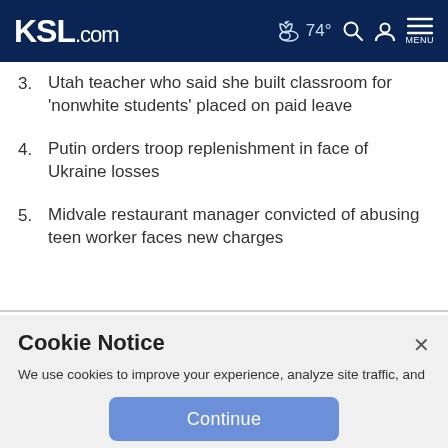KSL.com — 74° weather, search, account, menu
3. Utah teacher who said she built classroom for 'nonwhite students' placed on paid leave
4. Putin orders troop replenishment in face of Ukraine losses
5. Midvale restaurant manager convicted of abusing teen worker faces new charges
Cookie Notice
We use cookies to improve your experience, analyze site traffic, and to personalize content and ads. By continuing to use our site, you consent to our use of cookies. Please visit our Terms of Use and Privacy Policy for more information.
Continue